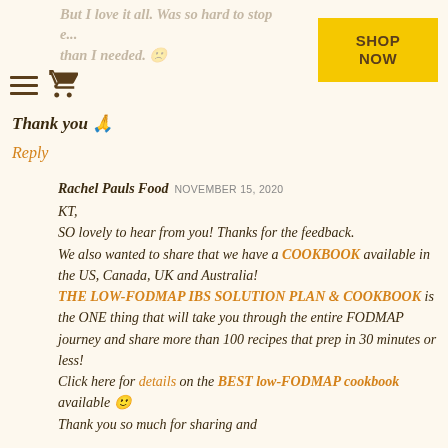But I love it all. Was so hard to stop e... than I needed. 🙁
Thank you 🙏
Reply
Rachel Pauls Food NOVEMBER 15, 2020
KT,
SO lovely to hear from you! Thanks for the feedback.
We also wanted to share that we have a COOKBOOK available in the US, Canada, UK and Australia!
THE LOW-FODMAP IBS SOLUTION PLAN & COOKBOOK is the ONE thing that will take you through the entire FODMAP journey and share more than 100 recipes that prep in 30 minutes or less!
Click here for details on the BEST low-FODMAP cookbook available 🙂
Thank you so much for sharing and